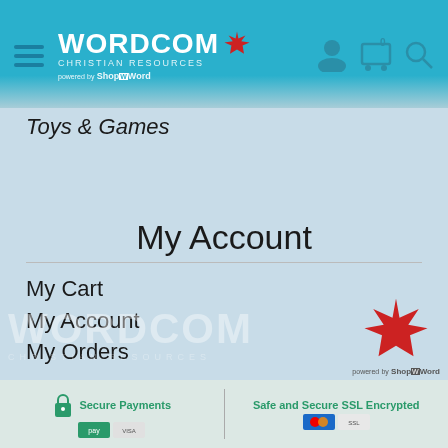[Figure (logo): Wordcom Christian Resources logo with maple leaf and 'powered by ShopTheWord' tagline in teal header bar]
Toys & Games
My Account
My Cart
My Account
My Orders
Forgot Password
Create Account
Support
[Figure (logo): Large Wordcom Christian Resources watermark logo with red maple leaf and 'powered by ShopTheWord']
Secure Payments | Safe and Secure SSL Encrypted